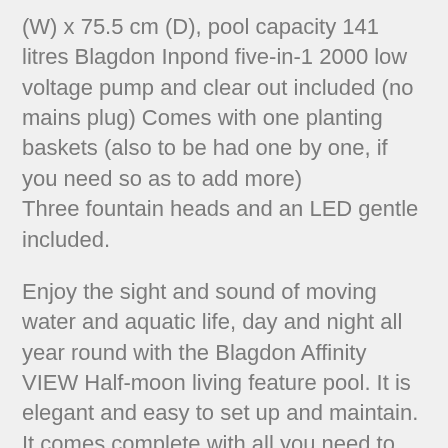(W) x 75.5 cm (D), pool capacity 141 litres Blagdon Inpond five-in-1 2000 low voltage pump and clear out included (no mains plug) Comes with one planting baskets (also to be had one by one, if you need so as to add more) Three fountain heads and an LED gentle included.
Enjoy the sight and sound of moving water and aquatic life, day and night all year round with the Blagdon Affinity VIEW Half-moon living feature pool. It is elegant and easy to set up and maintain. It comes complete with all you need to set up a living water feature on your patio or in your garden. Shatter